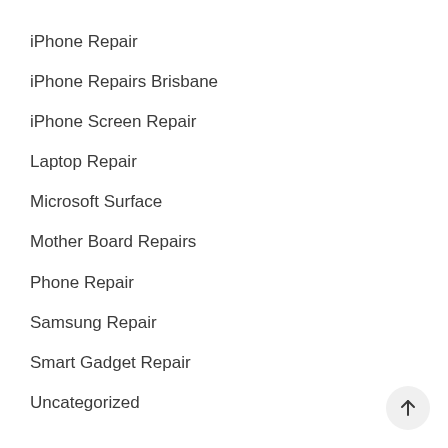iPhone Repair
iPhone Repairs Brisbane
iPhone Screen Repair
Laptop Repair
Microsoft Surface
Mother Board Repairs
Phone Repair
Samsung Repair
Smart Gadget Repair
Uncategorized